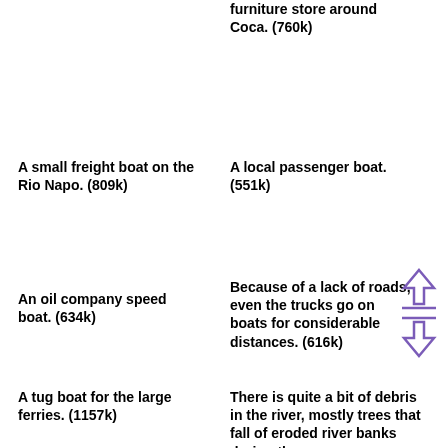furniture store around Coca. (760k)
A small freight boat on the Rio Napo. (809k)
A local passenger boat. (551k)
An oil company speed boat. (634k)
Because of a lack of roads, even the trucks go on boats for considerable distances. (616k)
[Figure (other): Navigation arrows (up and down) in purple]
A tug boat for the large ferries. (1157k)
There is quite a bit of debris in the river, mostly trees that fall of eroded river banks during the